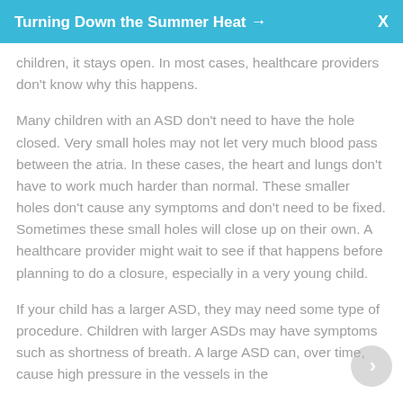Turning Down the Summer Heat →
children, it stays open. In most cases, healthcare providers don't know why this happens.
Many children with an ASD don't need to have the hole closed. Very small holes may not let very much blood pass between the atria. In these cases, the heart and lungs don't have to work much harder than normal. These smaller holes don't cause any symptoms and don't need to be fixed. Sometimes these small holes will close up on their own. A healthcare provider might wait to see if that happens before planning to do a closure, especially in a very young child.
If your child has a larger ASD, they may need some type of procedure. Children with larger ASDs may have symptoms such as shortness of breath. A large ASD can, over time, cause high pressure in the vessels in the